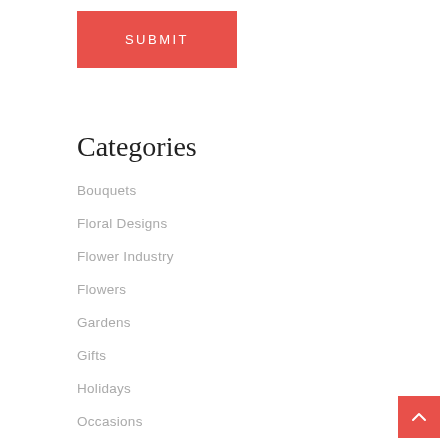SUBMIT
Categories
Bouquets
Floral Designs
Flower Industry
Flowers
Gardens
Gifts
Holidays
Occasions
Plants
Pollinators
Seasons